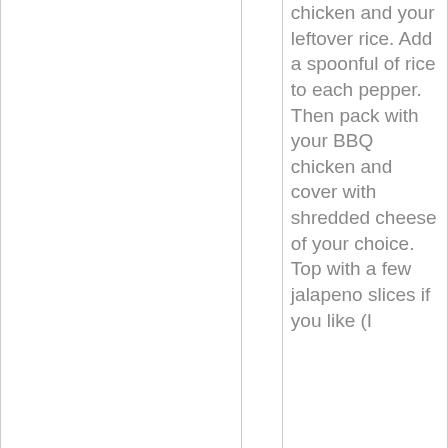chicken and your leftover rice. Add a spoonful of rice to each pepper. Then pack with your BBQ chicken and cover with shredded cheese of your choice. Top with a few jalapeno slices if you like (I